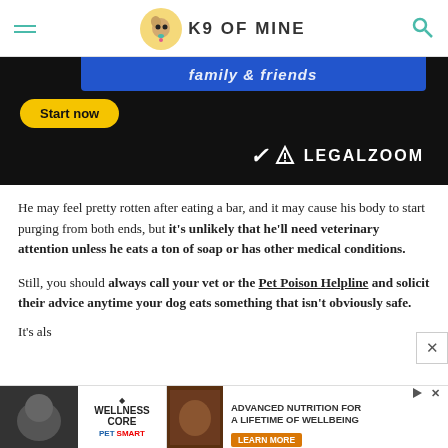K9 OF MINE
[Figure (screenshot): LegalZoom advertisement banner with dark background, blue top bar with italic text, yellow 'Start now' button, and LegalZoom logo]
He may feel pretty rotten after eating a bar, and it may cause his body to start purging from both ends, but it's unlikely that he'll need veterinary attention unless he eats a ton of soap or has other medical conditions.
Still, you should always call your vet or the Pet Poison Helpline and solicit their advice anytime your dog eats something that isn't obviously safe.
It's als
[Figure (screenshot): Wellness CORE PetSmart advertisement banner at bottom of page with dog photo, brand logos, and 'Advanced Nutrition For A Lifetime Of Wellbeing' tagline with Learn More button]